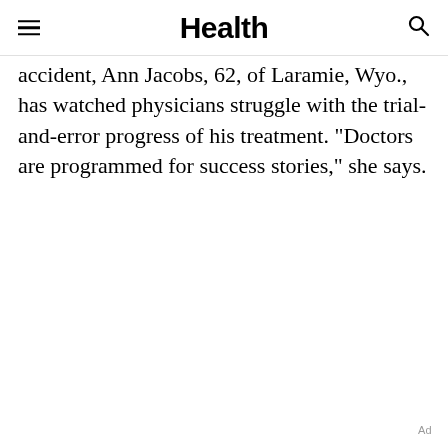Health
accident, Ann Jacobs, 62, of Laramie, Wyo., has watched physicians struggle with the trial-and-error progress of his treatment. "Doctors are programmed for success stories," she says.
Ad